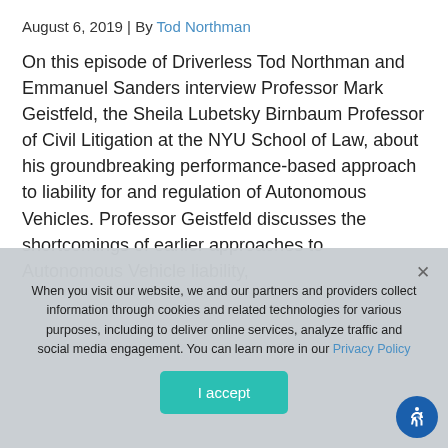August 6, 2019 | By Tod Northman
On this episode of Driverless Tod Northman and Emmanuel Sanders interview Professor Mark Geistfeld, the Sheila Lubetsky Birnbaum Professor of Civil Litigation at the NYU School of Law, about his groundbreaking performance-based approach to liability for and regulation of Autonomous Vehicles. Professor Geistfeld discusses the shortcomings of earlier approaches to Autonomous Vehicle liability,
When you visit our website, we and our partners and providers collect information through cookies and related technologies for various purposes, including to deliver online services, analyze traffic and social media engagement. You can learn more in our Privacy Policy
I accept